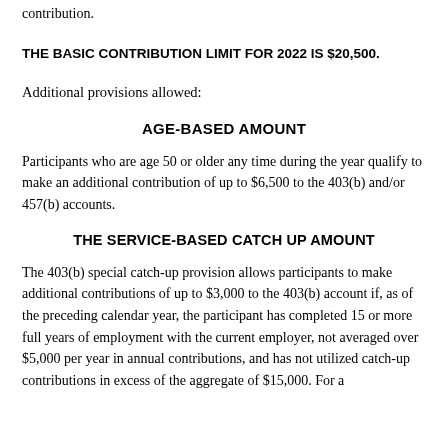contribution.
THE BASIC CONTRIBUTION LIMIT FOR 2022 IS $20,500.
Additional provisions allowed:
AGE-BASED AMOUNT
Participants who are age 50 or older any time during the year qualify to make an additional contribution of up to $6,500 to the 403(b) and/or 457(b) accounts.
THE SERVICE-BASED CATCH UP AMOUNT
The 403(b) special catch-up provision allows participants to make additional contributions of up to $3,000 to the 403(b) account if, as of the preceding calendar year, the participant has completed 15 or more full years of employment with the current employer, not averaged over $5,000 per year in annual contributions, and has not utilized catch-up contributions in excess of the aggregate of $15,000. For a